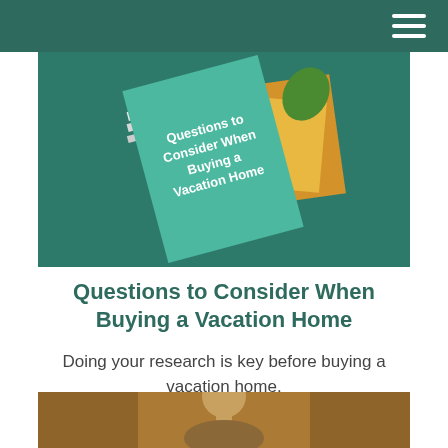[Figure (photo): A teal/green book or card with the text 'Questions to Consider When Buying a Vacation Home' written on it, lying at an angle on a teal background with some yellow/golden papers and a green leaf decoration]
Questions to Consider When Buying a Vacation Home
Doing your research is key before buying a vacation home.
[Figure (photo): A man photographed outdoors in warm golden light, visible from the shoulders up, appearing to be in a natural setting with trees in the background]